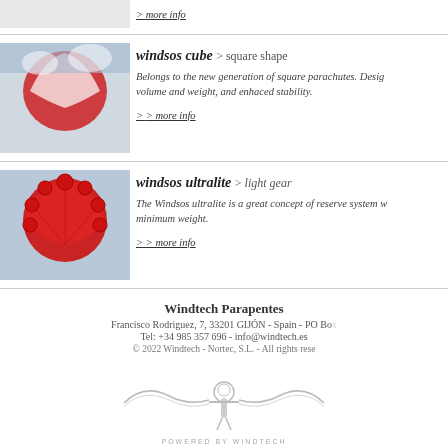> more info
[Figure (photo): Red and white square parachute in sky with clouds]
windsos cube > square shape
Belongs to the new generation of square parachutes. Design... volume and weight, and enhaced stability.
> more info
[Figure (photo): Red round parachute]
windsos ultralite > light gear
The Windsos ultralite is a great concept of reserve system w... minimum weight.
> more info
[Figure (photo): Red and white striped rogallo parachute on beach]
windsos drive > rogallo type
Steerable emergency parachute inspired by the «Rogallo» m... controlled and directional descent.
> more info
Windtech Parapentes
Francisco Rodriguez, 7, 33201 GIJÓN - Spain - PO Box...
Tel: +34 985 357 696 - info@windtech.es
© 2022 Windtech - Nortec, S.L. - All rights rese...
[Figure (logo): Windtech powered by Windtech logo - person with outstretched arms like wings]